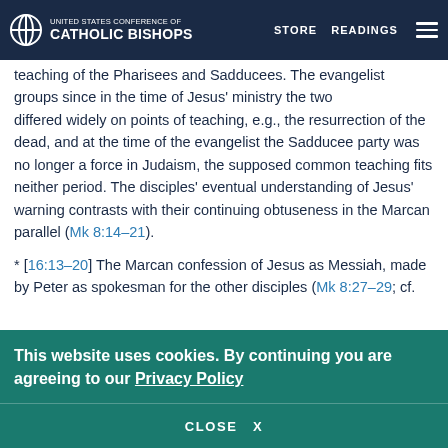UNITED STATES CONFERENCE OF CATHOLIC BISHOPS | STORE | READINGS
teaching of the Pharisees and Sadducees. The evangelist groups since in the time of Jesus' ministry the two differed widely on points of teaching, e.g., the resurrection of the dead, and at the time of the evangelist the Sadducee party was no longer a force in Judaism, the supposed common teaching fits neither period. The disciples' eventual understanding of Jesus' warning contrasts with their continuing obtuseness in the Marcan parallel (Mk 8:14–21).
* [16:13–20] The Marcan confession of Jesus as Messiah, made by Peter as spokesman for the other disciples (Mk 8:27–29; cf. also Lk 9:18–20), is modified significantly here. The confession is of Jesus both as Messiah and as Son of the living God (Mt 16:16). Jesus'
This website uses cookies. By continuing you are agreeing to our Privacy Policy
CLOSE X